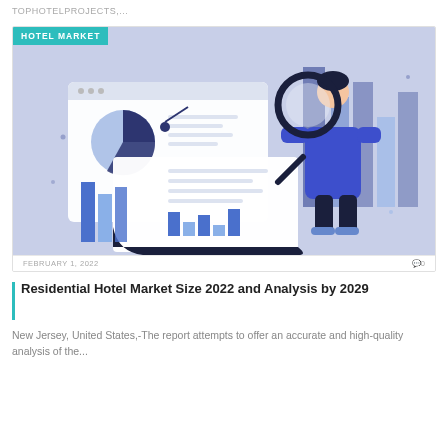TOPHOTELPROJECTS,...
[Figure (illustration): Illustration of a person holding a magnifying glass examining charts and data on a screen, with bar charts and pie charts in the background. A 'HOTEL MARKET' badge is overlaid on the image.]
FEBRUARY 1, 2022   0
Residential Hotel Market Size 2022 and Analysis by 2029
New Jersey, United States,-The report attempts to offer an accurate and high-quality analysis of the...